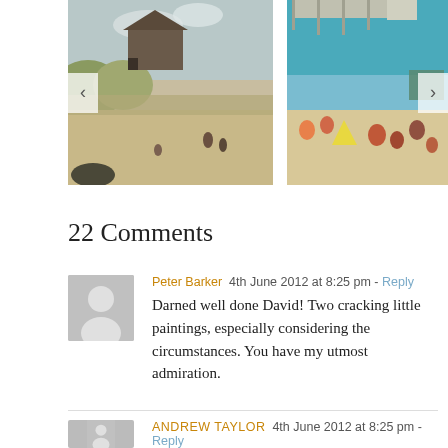[Figure (photo): Painting of a beach scene with a house and dunes, with a left navigation arrow overlay]
[Figure (photo): Painting of a busy beach scene with a pier in the background, with a right navigation arrow overlay]
22 Comments
Peter Barker  4th June 2012 at 8:25 pm - Reply
Darned well done David! Two cracking little paintings, especially considering the circumstances. You have my utmost admiration.
ANDREW TAYLOR  4th June 2012 at 8:25 pm - Reply